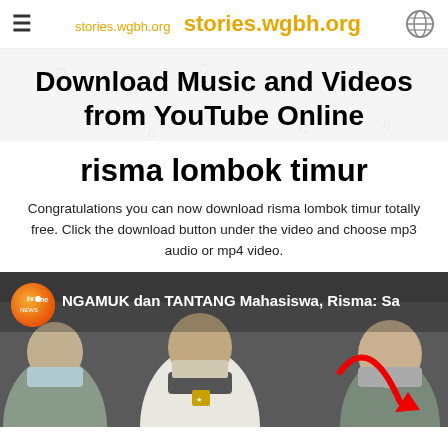stories.wgbh.org  stories.wgbh.org
Download Music and Videos from YouTube Online
risma lombok timur
Congratulations you can now download risma lombok timur totally free. Click the download button under the video and choose mp3 audio or mp4 video.
[Figure (screenshot): Video thumbnail from tvOne showing people wearing masks at what appears to be a press event. Overlay text reads: NGAMUK dan TANTANG Mahasiswa, Risma: Sa. A red arrow graphic overlaid on the right side.]